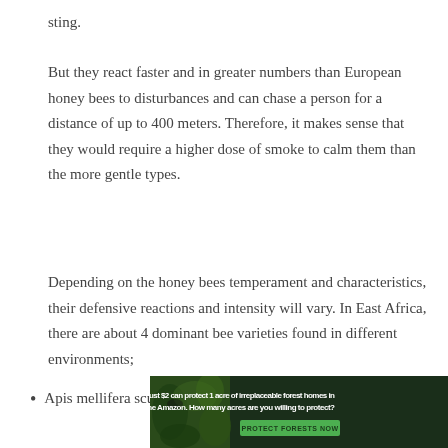sting.
But they react faster and in greater numbers than European honey bees to disturbances and can chase a person for a distance of up to 400 meters. Therefore, it makes sense that they would require a higher dose of smoke to calm them than the more gentle types.
Depending on the honey bees temperament and characteristics, their defensive reactions and intensity will vary. In East Africa, there are about 4 dominant bee varieties found in different environments;
Apis mellifera scuttellata  is found in Savannah grasslands
[Figure (infographic): Advertisement banner: dark green background with forest imagery on the left, text reading 'Just $2 can protect 1 acre of irreplaceable forest homes in the Amazon. How many acres are you willing to protect?' with a green 'PROTECT FORESTS NOW' button.]